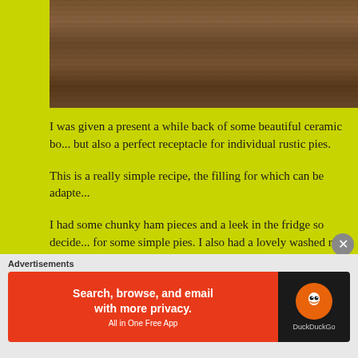[Figure (photo): Close-up of a rustic wooden surface/table with dark wood grain texture]
I was given a present a while back of some beautiful ceramic bo... but also a perfect receptacle for individual rustic pies.
This is a really simple recipe, the filling for which can be adapte...
I had some chunky ham pieces and a leek in the fridge so decide... for some simple pies. I also had a lovely washed rind cheese, so... would go beautifully with the ham and leek. I'm a huge fan of n... I decided to put some walnuts in the pies as well. They added a... the pies.
All these ingredients were stirred into a white sauce, piled into t...
Advertisements
[Figure (screenshot): DuckDuckGo advertisement banner: Search, browse, and email with more privacy. All in One Free App]